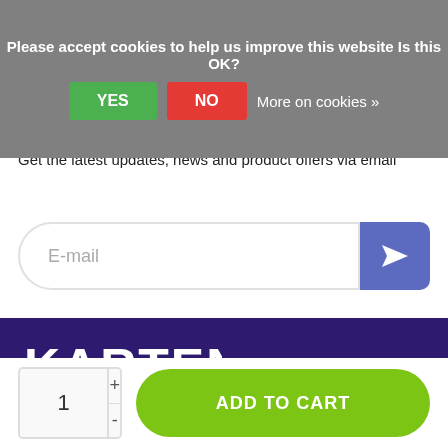Please accept cookies to help us improve this website Is this OK?
YES
NO
More on cookies »
Keep up to date!
Get the latest updates, news and product offers via email
E-mail
[Figure (logo): KarTent logo in white text on dark purple background]
We are KarTent. We supply high-quality, recyclable and innovative cardboard products for everyone.
1 + - ADD TO CART